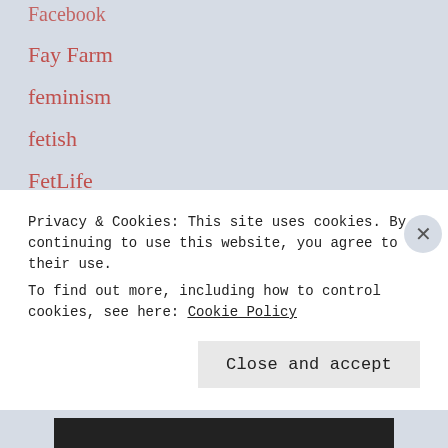Facebook
Fay Farm
feminism
fetish
FetLife
FibroCane
fibromyalgia
FibroSleep
firemen
Privacy & Cookies: This site uses cookies. By continuing to use this website, you agree to their use.
To find out more, including how to control cookies, see here: Cookie Policy
Close and accept